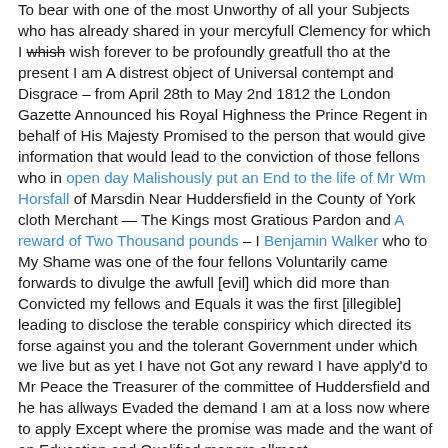To bear with one of the most Unworthy of all your Subjects who has already shared in your mercyfull Clemency for which I whish wish forever to be profoundly greatfull tho at the present I am A distrest object of Universal contempt and Disgrace – from April 28th to May 2nd 1812 the London Gazette Announced his Royal Highness the Prince Regent in behalf of His Majesty Promised to the person that would give information that would lead to the conviction of those fellons who in open day Malishously put an End to the life of Mr Wm Horsfall of Marsdin Near Huddersfield in the County of York cloth Merchant — The Kings most Gratious Pardon and A reward of Two Thousand pounds – I Benjamin Walker who to My Shame was one of the four fellons Voluntarily came forwards to divulge the awfull [evil] which did more than Convicted my fellows and Equals it was the first [illegible] leading to disclose the terable conspiricy which directed its forse against you and the tolerant Government under which we live but as yet I have not Got any reward I have apply'd to Mr Peace the Treasurer of the committee of Huddersfield and he has allways Evaded the demand I am at a loss now where to apply Except where the promise was made and the want of an Education and Qualified maners allmost